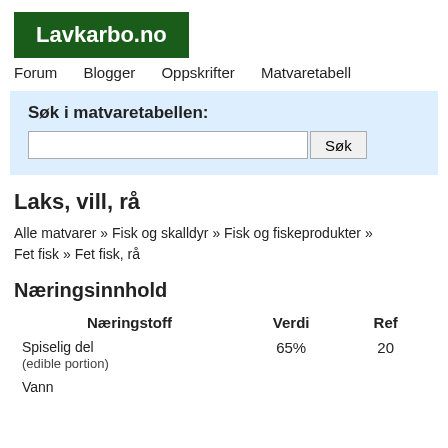Lavkarbo.no
Forum   Blogger   Oppskrifter   Matvaretabell
Søk i matvaretabellen:
Laks, vill, rå
Alle matvarer » Fisk og skalldyr » Fisk og fiskeprodukter » Fet fisk » Fet fisk, rå
Næringsinnhold
| Næringstoff | Verdi | Ref |
| --- | --- | --- |
| Spiselig del (edible portion) | 65% | 20 |
| Vann |  |  |